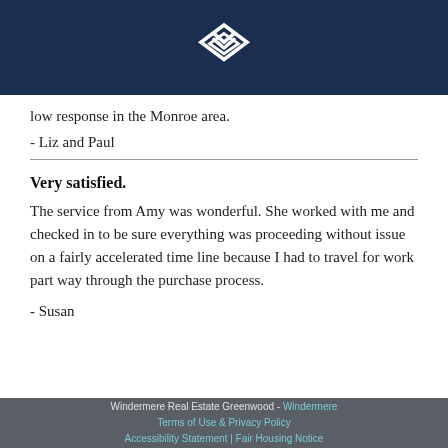Windermere logo
low response in the Monroe area.
- Liz and Paul
Very satisfied.
The service from Amy was wonderful. She worked with me and checked in to be sure everything was proceeding without issue on a fairly accelerated time line because I had to travel for work part way through the purchase process.
- Susan
Windermere Real Estate Greenwood - Windermere Terms of Use  &  Privacy Policy Accessibility Statement | Fair Housing Notice